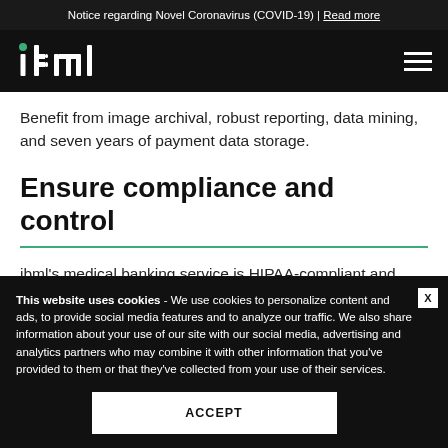Notice regarding Novel Coronavirus (COVID-19) | Read more
[Figure (logo): ibml logo in white on black background with hamburger menu icon]
Benefit from image archival, robust reporting, data mining, and seven years of payment data storage.
Ensure compliance and control
ibml's medical banking service is HIPAA-compliant and provides complete audit trails and configurable controls on the posting
This website uses cookies - We use cookies to personalize content and ads, to provide social media features and to analyze our traffic. We also share information about your use of our site with our social media, advertising and analytics partners who may combine it with other information that you've provided to them or that they've collected from your use of their services.
ACCEPT